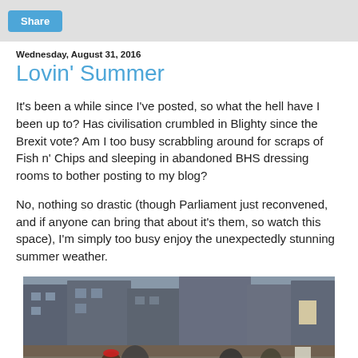Share
Wednesday, August 31, 2016
Lovin' Summer
It's been a while since I've posted, so what the hell have I been up to? Has civilisation crumbled in Blighty since the Brexit vote? Am I too busy scrabbling around for scraps of Fish n' Chips and sleeping in abandoned BHS dressing rooms to bother posting to my blog?
No, nothing so drastic (though Parliament just reconvened, and if anyone can bring that about it's them, so watch this space), I'm simply too busy enjoy the unexpectedly stunning summer weather.
[Figure (photo): Street scene photograph showing buildings and people outdoors on a summer day]